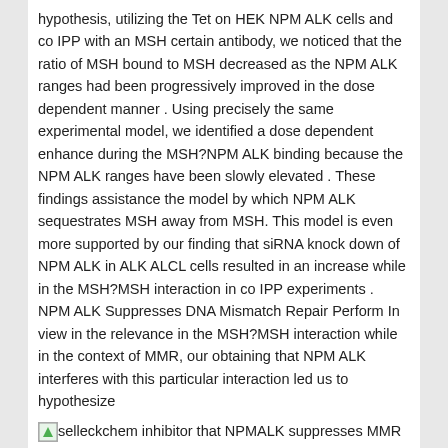hypothesis, utilizing the Tet on HEK NPM ALK cells and co IPP with an MSH certain antibody, we noticed that the ratio of MSH bound to MSH decreased as the NPM ALK ranges had been progressively improved in the dose dependent manner . Using precisely the same experimental model, we identified a dose dependent enhance during the MSH?NPM ALK binding because the NPM ALK ranges have been slowly elevated . These findings assistance the model by which NPM ALK sequestrates MSH away from MSH. This model is even more supported by our finding that siRNA knock down of NPM ALK in ALK ALCL cells resulted in an increase while in the MSH?MSH interaction in co IPP experiments . NPM ALK Suppresses DNA Mismatch Repair Perform In view in the relevance in the MSH?MSH interaction while in the context of MMR, our obtaining that NPM ALK interferes with this particular interaction led us to hypothesize
[image] selleckchem inhibitor that NPMALK suppresses MMR perform. This hypothesis was supported by the benefits of two different in vitro assays described under.
TG Assay The TG assay, a broadly accepted test for